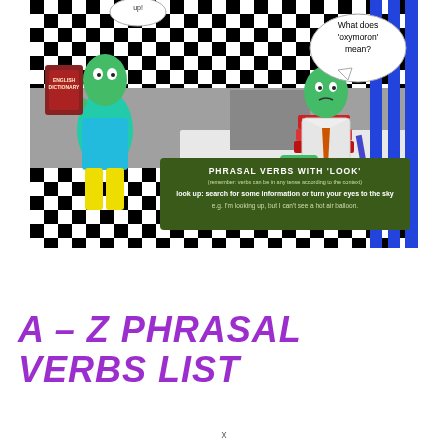[Figure (illustration): Cartoon illustration showing two alien/frog-like characters in a classroom or office setting with black-and-white checkered floor. One character stands holding an English Dictionary; the other sits at a desk wearing a tie with a speech bubble saying 'What does oxymoron mean?'. A dark green banner in the scene reads 'PHRASAL VERBS WITH LOOK' with subtitle '(remember: verbs can be in any tense according to the context)' and the definition 'look up: search for some information or turn your eyes to the sky e.g. I'm looking up, but I can't see a hot air balloon.']
A – Z PHRASAL VERBS LIST